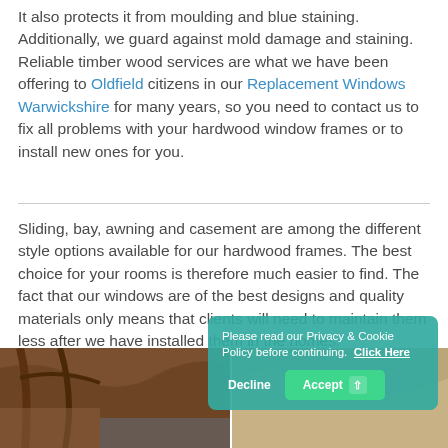It also protects it from moulding and blue staining. Additionally, we guard against mold damage and staining. Reliable timber wood services are what we have been offering to Oldfield citizens in our Replacement Windows Warwickshire for many years, so you need to contact us to fix all problems with your hardwood window frames or to install new ones for you.
Sliding, bay, awning and casement are among the different style options available for our hardwood frames. The best choice for your rooms is therefore much easier to find. The fact that our windows are of the best designs and quality materials only means that clients will need to maintain them less after we have installed them in the homes.
[Figure (photo): Photo strip at the bottom showing wooden window frames interior view]
Please read our Privacy & Cookie Policy before continuing. Click Here